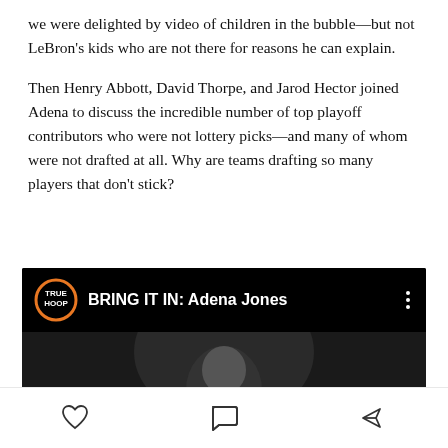we were delighted by video of children in the bubble—but not LeBron's kids who are not there for reasons he can explain.
Then Henry Abbott, David Thorpe, and Jarod Hector joined Adena to discuss the incredible number of top playoff contributors who were not lottery picks—and many of whom were not drafted at all. Why are teams drafting so many players that don't stick?
[Figure (screenshot): Video thumbnail for 'BRING IT IN: Adena Jones' by TrueHoop, showing a woman smiling with a play button overlay]
Like, Comment, Share icons